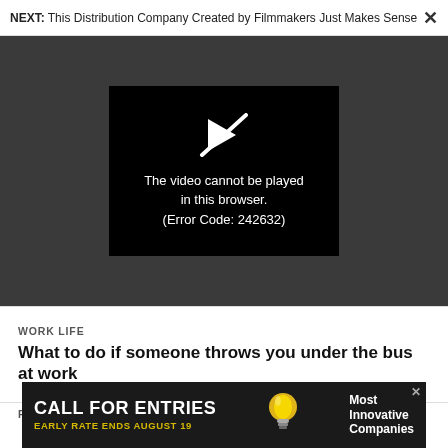NEXT: This Distribution Company Created by Filmmakers Just Makes Sense ×
[Figure (screenshot): Video player showing error message: 'The video cannot be played in this browser. (Error Code: 242632)']
WORK LIFE
What to do if someone throws you under the bus at work
FAST COMPANY MAGAZINE
[Figure (infographic): Advertisement banner: CALL FOR ENTRIES - EARLY RATE ENDS AUGUST 19 - Most Innovative Companies, with lightbulb icon]